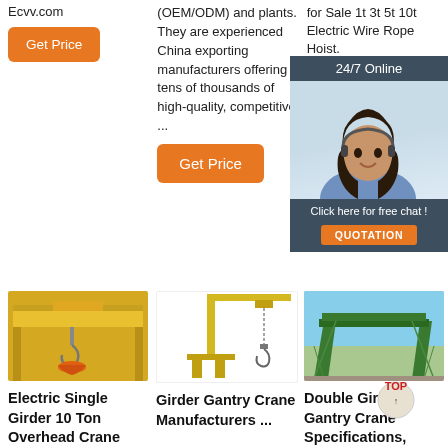Ecvv.com
[Figure (other): Orange 'Get Price' button]
(OEM/ODM) and plants. They are experienced China exporting manufacturers offering tens of thousands of high-quality, competitive ...
[Figure (other): Large orange 'Get Price' button]
for Sale 1t 3t 5t 10t Electric Wire Rope Hoist.
[Figure (other): Orange 'Get Price' button]
[Figure (other): Chat widget with '24/7 Online' header, woman with headset photo, 'Click here for free chat!' text and orange QUOTATION button]
[Figure (photo): Electric single girder overhead crane with yellow beam and hook]
[Figure (photo): Yellow girder gantry crane with chain hoist]
[Figure (photo): Green double girder gantry crane]
Electric Single Girder 10 Ton Overhead Crane
Girder Gantry Crane Manufacturers ...
Double Girder Gantry Crane Specifications,